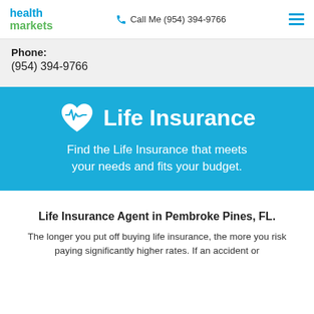health markets | Call Me (954) 394-9766
Phone:
(954) 394-9766
[Figure (infographic): Blue banner with heart/ECG icon and text: Life Insurance. Find the Life Insurance that meets your needs and fits your budget.]
Life Insurance Agent in Pembroke Pines, FL.
The longer you put off buying life insurance, the more you risk paying significantly higher rates. If an accident or